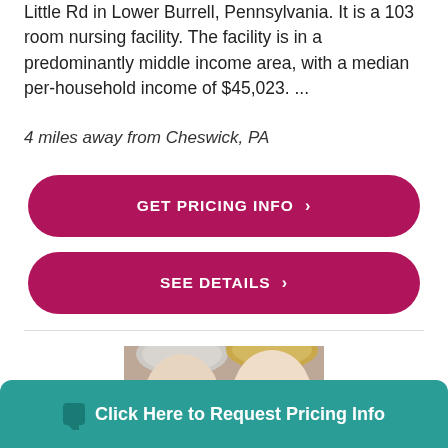Little Rd in Lower Burrell, Pennsylvania. It is a 103 room nursing facility. The facility is in a predominantly middle income area, with a median per-household income of $45,023. ...
4 miles away from Cheswick, PA
GET PRICING INFO ›
SEE DETAILS ›
[Figure (photo): Two women, one elderly with white hair and one middle-aged with blonde hair, photographed together from shoulders up.]
Click Here to Request Pricing Info